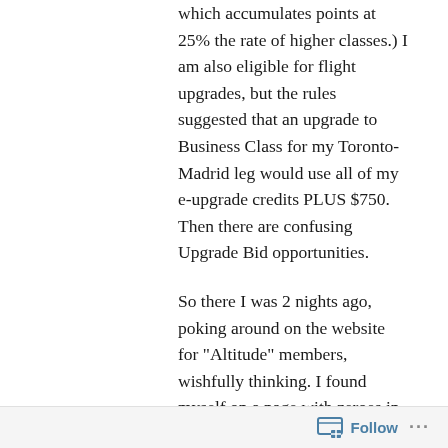which accumulates points at 25% the rate of higher classes.) I am also eligible for flight upgrades, but the rules suggested that an upgrade to Business Class for my Toronto-Madrid leg would use all of my e-upgrade credits PLUS $750. Then there are confusing Upgrade Bid opportunities.
So there I was 2 nights ago, poking around on the website for "Altitude" members, wishfully thinking. I found myself on a page with zeroes in the Added Charges box, right beside a button that said "Request Upgrade". I couldn't resist and my fingers hit the button. I hadn't entered any credit card information, so hadn't approved any charges.
Soon I got an email saying "Upgraded to Business Class" and I could even see my seat assignment that confirmed it!
Follow